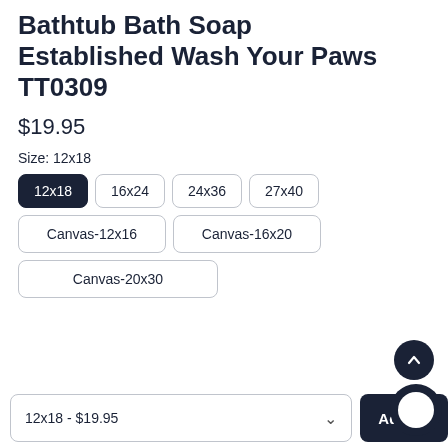Bathtub Bath Soap Established Wash Your Paws TT0309
$19.95
Size: 12x18
12x18 (selected)
16x24
24x36
27x40
Canvas-12x16
Canvas-16x20
Canvas-20x30
12x18 - $19.95
Add to